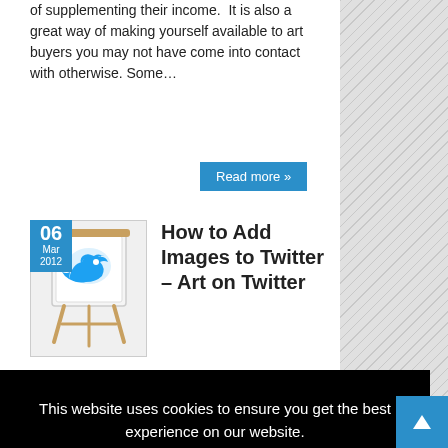of supplementing their income.  It is also a great way of making yourself available to art buyers you may not have come into contact with otherwise. Some…
Read more »
[Figure (illustration): Twitter bird logo on an easel/canvas, resembling artwork on a stand. Date badge showing '06 Mar 2012' in blue.]
How to Add Images to Twitter – Art on Twitter
This website uses cookies to ensure you get the best experience on our website.
Learn more
Got it!